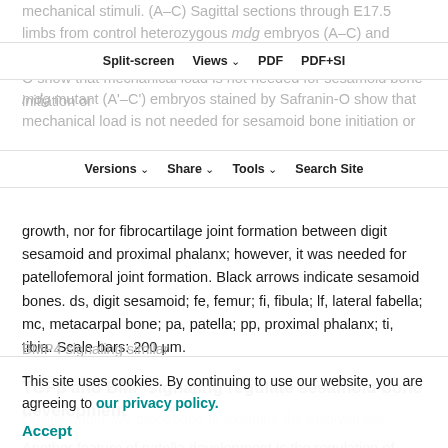mechanical stimuli. (A–C) Sagittal sections through E17.5 limbs from control heterozygous mdg embryos (A–C) and homozygous mdg mutant (A'–C') embryos stained by Safranin-O show that mechanical load is not needed for sesamoid bone initiation or
Split-screen   Views   PDF   PDF+SI
Versions   Share   Tools   Search Site
growth, nor for fibrocartilage joint formation between digit sesamoid and proximal phalanx; however, it was needed for patellofemoral joint formation. Black arrows indicate sesamoid bones. ds, digit sesamoid; fe, femur; fi, fibula; lf, lateral fabella; mc, metacarpal bone; pa, patella; pp, proximal phalanx; ti, tibia. Scale bars: 200 μm.
TGFβ and BMP signaling regulate sesamoid bone development
Another feature of patella development is the regulation of
This site uses cookies. By continuing to use our website, you are agreeing to our privacy policy.
Accept
certain origin, we proceeded to examine the involvement